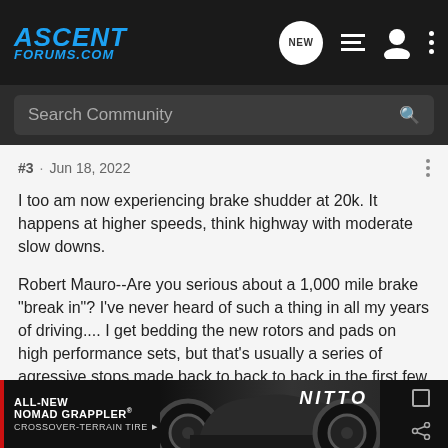ASCENT FORUMS.COM — navigation header with Search Community bar
#3 · Jun 18, 2022
I too am now experiencing brake shudder at 20k. It happens at higher speeds, think highway with moderate slow downs.

Robert Mauro--Are you serious about a 1,000 mile brake "break in"? I've never heard of such a thing in all my years of driving.... I get bedding the new rotors and pads on high performance sets, but that's usually a series of agressive stops made back to back to back in the first few miles.... 1000 miles......hmmm
AgentK
[Figure (other): Nitto ALL-NEW NOMAD GRAPPLER CROSSOVER-TERRAIN TIRE advertisement banner]